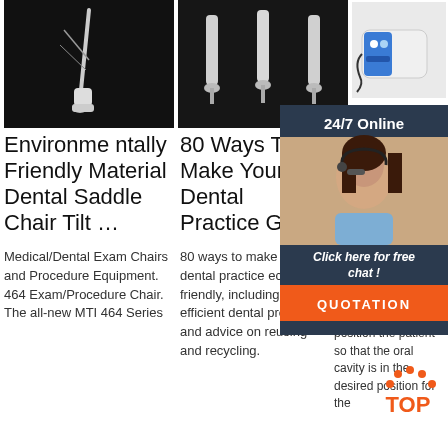[Figure (photo): Dental instrument on dark background - left image]
[Figure (photo): Three dental handpieces on dark background - center image]
[Figure (photo): Blue and white dental/medical device on white background - right image]
[Figure (photo): 24/7 Online customer support widget with woman wearing headset, click here for free chat, QUOTATION button]
Environmentally Friendly Material Dental Saddle Chair Tilt …
Medical/Dental Exam Chairs and Procedure Equipment. 464 Exam/Procedure Chair. The all-new MTI 464 Series
80 Ways To Make Your Dental Practice Green
80 ways to make your dental practice eco-friendly, including energy efficient dental products and advice on reusing and recycling.
Used Den Exa Cha
The Pe Crane dental known 3000) is used to position the patient so that the oral cavity is in the desired position for the